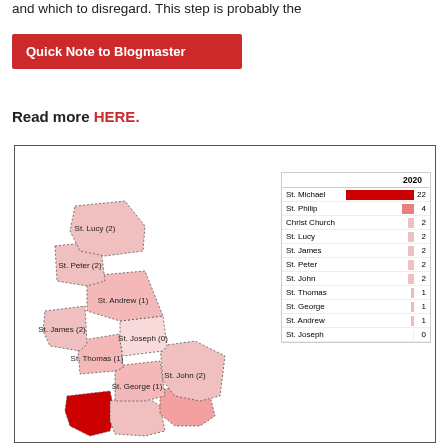and which to disregard. This step is probably the
Quick Note to Blogmaster
Read more HERE.
[Figure (map): Barbados Murders 2020 map showing murders by parish. Source: caribbeansignal.com. Total: 39 (not counting 1 police shooting and 3 unknown parishes). Parishes labeled: St. Lucy (2), St. Peter (2), St. Andrew (1), St. James (2), St. Joseph (0), St. Thomas (1), St. John (2), St. George (1), St. Michael (22 - shown in red). Legend bar chart shows: St. Michael 22, St. Philip 4, Christ Church 2, St. Lucy 2, St. James 2, St. Peter 2, St. John 2, St. Thomas 1, St. George 1, St. Andrew 1, St. Joseph 0.]